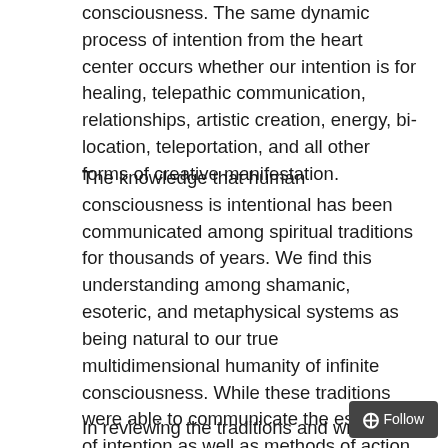consciousness. The same dynamic process of intention from the heart center occurs whether our intention is for healing, telepathic communication, relationships, artistic creation, energy, bi-location, teleportation, and all other forms of creative manifestation.
The knowledge that human consciousness is intentional has been communicated among spiritual traditions for thousands of years. We find this understanding among shamanic, esoteric, and metaphysical systems as being natural to our true multidimensional humanity of infinite consciousness. While these traditions were able to communicate the essence of intention as well as methods of action, it is in the current dimensional elevation of consciousness that we are shifting to a frequency of pure intention as we emanate the fullness of our Divine consciousness directly in the body.
In reviewing the traditions and writings, we find